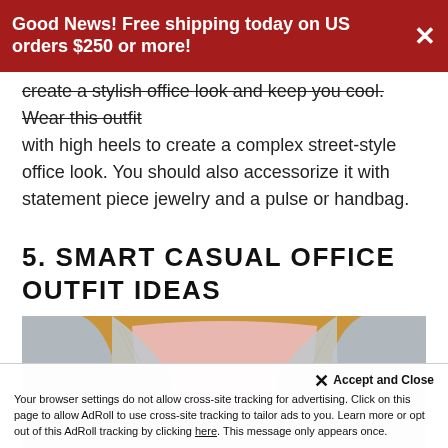Good News! Free shipping today on US orders $250 or more! ✕
create a stylish office look and keep you cool. Wear this outfit with high heels to create a complex street-style office look. You should also accessorize it with statement piece jewelry and a pulse or handbag.
5. SMART CASUAL OFFICE OUTFIT IDEAS
[Figure (photo): Fashion photo of a woman wearing a light gray tweed blazer and matching skirt with a pale pink top, posed against a mustard/yellow background. Only the torso and part of the arms/legs are visible.]
Accept and Close
Your browser settings do not allow cross-site tracking for advertising. Click on this page to allow AdRoll to use cross-site tracking to tailor ads to you. Learn more or opt out of this AdRoll tracking by clicking here. This message only appears once.